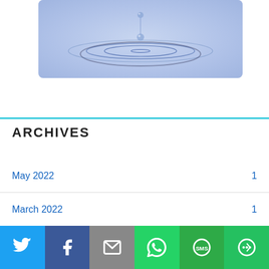[Figure (photo): Water drop ripple photo showing a droplet falling into water with circular ripples on a blue/lavender background]
ARCHIVES
May 2022  1
March 2022  1
August 2020  2
May 2020  2